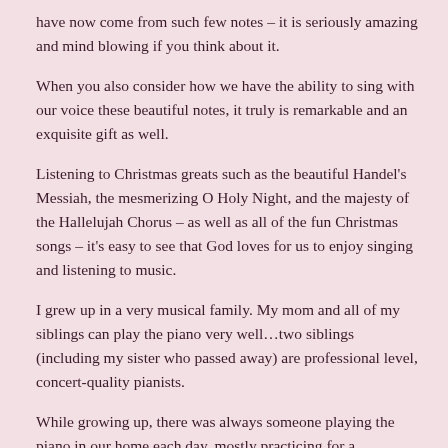have now come from such few notes – it is seriously amazing and mind blowing if you think about it.
When you also consider how we have the ability to sing with our voice these beautiful notes, it truly is remarkable and an exquisite gift as well.
Listening to Christmas greats such as the beautiful Handel's Messiah, the mesmerizing O Holy Night, and the majesty of the Hallelujah Chorus – as well as all of the fun Christmas songs – it's easy to see that God loves for us to enjoy singing and listening to music.
I grew up in a very musical family. My mom and all of my siblings can play the piano very well…two siblings (including my sister who passed away) are professional level, concert-quality pianists.
While growing up, there was always someone playing the piano in our home each day, mostly practicing for a competition, recital, or performance. They'd also play their favorite music or write songs just for fun, too.
My favorite was when my siblings would play the piano and sing carols and heartfelt praise songs during the Christmas season. The